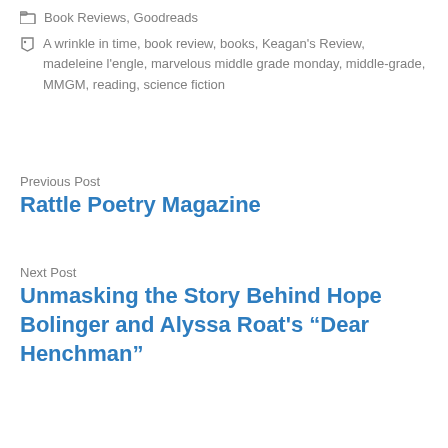Book Reviews, Goodreads
A wrinkle in time, book review, books, Keagan's Review, madeleine l'engle, marvelous middle grade monday, middle-grade, MMGM, reading, science fiction
Previous Post
Rattle Poetry Magazine
Next Post
Unmasking the Story Behind Hope Bolinger and Alyssa Roat's “Dear Henchman”